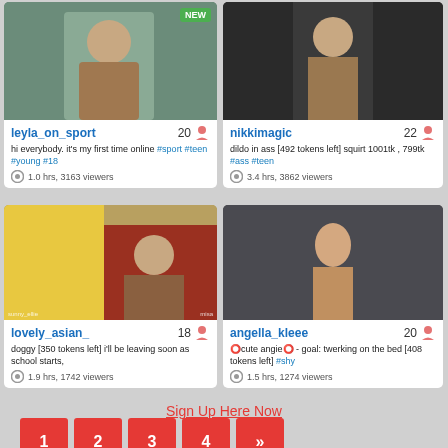[Figure (photo): Thumbnail of leyla_on_sport with NEW badge]
leyla_on_sport 20
hi everybody. it's my first time online #sport #teen #young #18
1.0 hrs, 3163 viewers
[Figure (photo): Thumbnail of nikkimagic]
nikkimagic 22
dildo in ass [492 tokens left] squirt 1001tk , 799tk #ass #teen
3.4 hrs, 3862 viewers
[Figure (photo): Thumbnail of lovely_asian_ with watermarks sunny_ellie and miso]
lovely_asian_ 18
doggy [350 tokens left] i'll be leaving soon as school starts,
1.9 hrs, 1742 viewers
[Figure (photo): Thumbnail of angella_kleee]
angella_kleee 20
⭕cute angie⭕ - goal: twerking on the bed [408 tokens left] #shy
1.5 hrs, 1274 viewers
Sign Up Here Now
1
2
3
4
»
Search ...